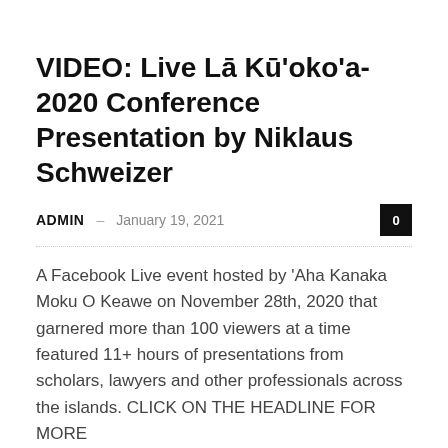VIDEO: Live Lā Kū'oko'a-2020 Conference Presentation by Niklaus Schweizer
ADMIN – January 19, 2021
A Facebook Live event hosted by 'Aha Kanaka Moku O Keawe on November 28th, 2020 that garnered more than 100 viewers at a time featured 11+ hours of presentations from scholars, lawyers and other professionals across the islands. CLICK ON THE HEADLINE FOR MORE
Read more